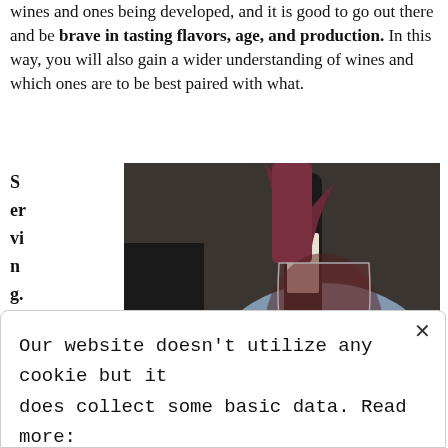wines and ones being developed, and it is good to go out there and be brave in tasting flavors, age, and production. In this way, you will also gain a wider understanding of wines and which ones are to be best paired with what.
Serving Now that
[Figure (photo): A person pouring red wine from a bottle wrapped in a dark cloth into a large wine glass, held in dim ambient lighting.]
you've grown accustomed to wine, you have your preference and you know how to pair wine with
Our website doesn't utilize any cookie but it does collect some basic data. Read more: